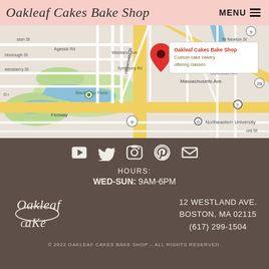Oakleaf Cakes Bake Shop | MENU
[Figure (map): Google Maps view showing the location of Oakleaf Cakes Bake Shop at 12 Westland Ave, Boston MA, near Massachusetts Ave, Back Bay Fens, and Northeastern University. A red map pin marks the bakery location with a popup showing 'Oakleaf Cakes Bake Shop - Custom cake bakery offering classes'.]
[Figure (infographic): Row of 5 social media icons: YouTube play button, Twitter bird, Instagram camera, Pinterest P, and envelope/email icon. White icons on dark brown background.]
HOURS:
WED-SUN: 9AM-6PM
[Figure (logo): Oakleaf Cakes script logo in white on dark brown background]
12 WESTLAND AVE.
BOSTON, MA 02115
(617) 299-1504
© 2022 OAKLEAF CAKES BAKE SHOP – ALL RIGHTS RESERVED.